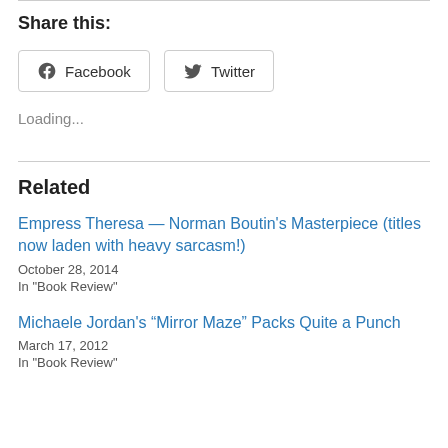Share this:
Facebook   Twitter
Loading...
Related
Empress Theresa — Norman Boutin's Masterpiece (titles now laden with heavy sarcasm!)
October 28, 2014
In "Book Review"
Michaele Jordan's “Mirror Maze” Packs Quite a Punch
March 17, 2012
In "Book Review"